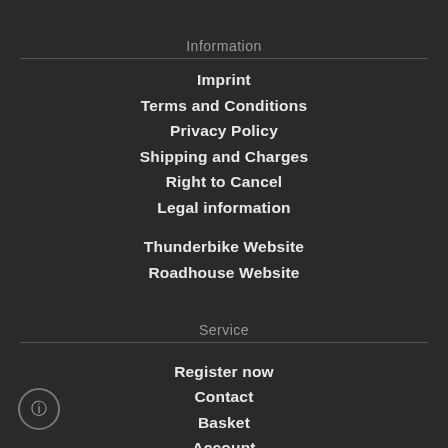Information
Imprint
Terms and Conditions
Privacy Policy
Shipping and Charges
Right to Cancel
Legal information
Thunderbike Website
Roadhouse Website
Service
Register now
Contact
Basket
Account
Noticelist
Newsletter